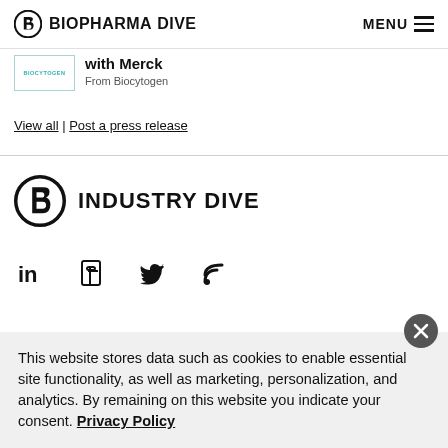BIOPHARMA DIVE | MENU
with Merck
From Biocytogen
View all | Post a press release
[Figure (logo): Industry Dive logo with circular D icon]
[Figure (infographic): Social media icons: LinkedIn, Facebook, Twitter, RSS]
This website stores data such as cookies to enable essential site functionality, as well as marketing, personalization, and analytics. By remaining on this website you indicate your consent. Privacy Policy